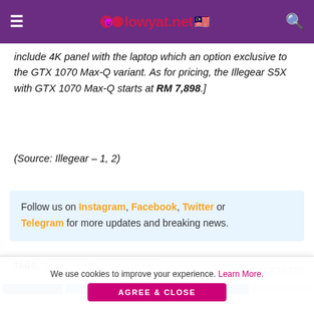lowyat.net
include 4K panel with the laptop which an option exclusive to the GTX 1070 Max-Q variant. As for pricing, the Illegear S5X with GTX 1070 Max-Q starts at RM 7,898.]
(Source: Illegear – 1, 2)
Follow us on Instagram, Facebook, Twitter or Telegram for more updates and breaking news.
TAGS: ILLEGEAR  NVIDIA MAX Q
BACK TO TOP
We use cookies to improve your experience. Learn More. AGREE & CLOSE